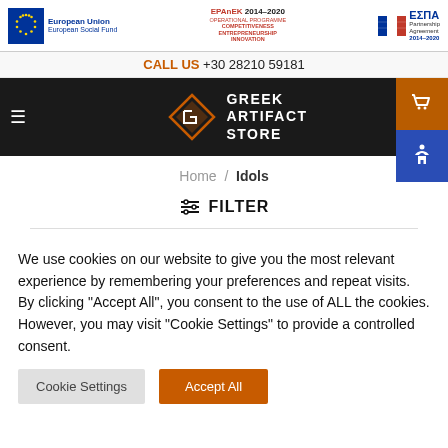[Figure (logo): EU funding banner with European Union / European Social Fund logo, EPAnEK 2014-2020 Operational Programme logo, and ESPA Partnership Agreement 2014-2020 logo]
CALL US +30 28210 59181
[Figure (logo): Greek Artifact Store logo with stylized diamond/arrow icon and store name in white text on dark background, shopping cart button, and accessibility icon]
Home / Idols
≡ FILTER
We use cookies on our website to give you the most relevant experience by remembering your preferences and repeat visits. By clicking "Accept All", you consent to the use of ALL the cookies. However, you may visit "Cookie Settings" to provide a controlled consent.
Cookie Settings
Accept All